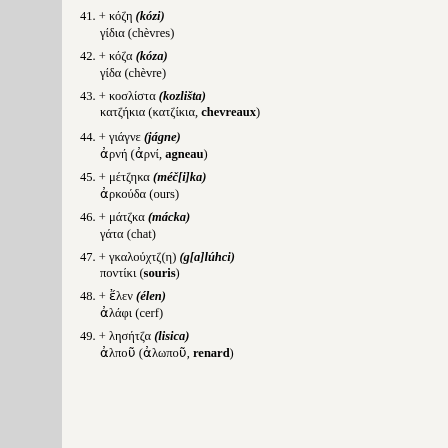41. + κόζη (kózi) / γίδια (chèvres)
42. + κόζα (kóza) / γίδα (chèvre)
43. + κοσλίστα (kozlišta) / κατζήκια (κατζίκια, chevreaux)
44. + γιάγνε (jágne) / ἀρνή (ἀρνί, agneau)
45. + μέτζηκα (méč[i]ka) / ἀρκούδα (ours)
46. + μάτζκα (mácka) / γάτα (chat)
47. + γκαλούχτζ(η) (g[a]lúhci) / ποντίκι (souris)
48. + ἔλεν (élen) / ἀλάφι (cerf)
49. + λησήτζα (lisica) / ἀλποῦ (ἀλωποῦ, renard)